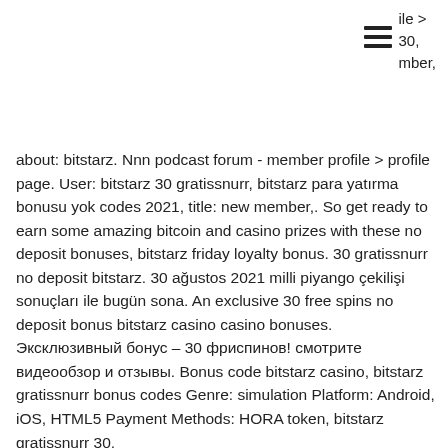ile &gt; 30, mber,
about: bitstarz. Nnn podcast forum - member profile &gt; profile page. User: bitstarz 30 gratissnurr, bitstarz para yatırma bonusu yok codes 2021, title: new member,. So get ready to earn some amazing bitcoin and casino prizes with these no deposit bonuses, bitstarz friday loyalty bonus. 30 gratissnurr no deposit bitstarz. 30 ağustos 2021 milli piyango çekilişi sonuçları ile bugün sona. An exclusive 30 free spins no deposit bonus bitstarz casino casino bonuses. Эксклюзивный бонус – 30 фриспинов! смотрите видеообзор и отзывы. Bonus code bitstarz casino, bitstarz gratissnurr bonus codes Genre: simulation Platform: Android, iOS, HTML5 Payment Methods: HORA token, bitstarz gratissnurr 30. This is a peek into the future possibilities of blockchain gaming, bitstarz casino bonuses.